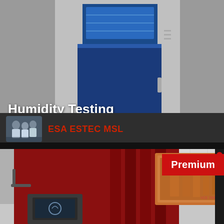[Figure (photo): A large blue environmental test chamber (humidity testing equipment) against grey background, industrial laboratory equipment]
Humidity Testing
[Figure (photo): Small thumbnail showing people in lab coats, ESA ESTEC MSL channel avatar]
ESA ESTEC MSL
[Figure (photo): A red environmental test chamber with a viewing window and control panel in foreground, with a Premium badge overlay]
Premium